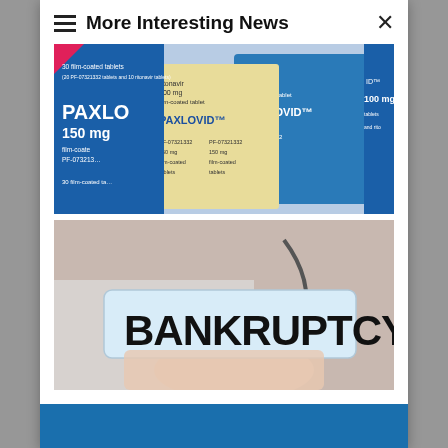More Interesting News
[Figure (photo): Photo of Paxlovid medication boxes — showing blue and yellow packaging with text: PAXLOVID, 150 mg, film-coated tablets, PF-07321332, ritonavir 100 mg]
[Figure (photo): Photo of a person in a white coat holding a light blue sign that reads BANKRUPTCY in large black bold letters]